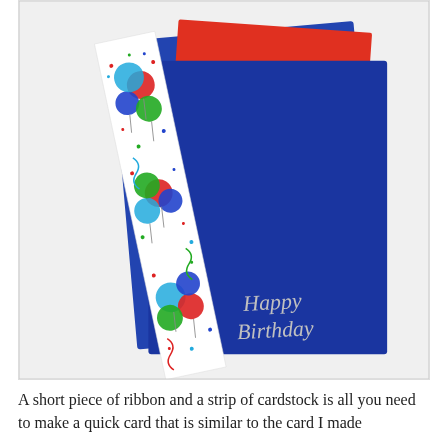[Figure (photo): A Happy Birthday card craft project showing a blue card with 'Happy Birthday' written in silver script, an orange/red card behind it, and a white decorative ribbon strip with colorful balloon designs (red, blue, green balloons with confetti and streamers) arranged diagonally across the front.]
A short piece of ribbon and a strip of cardstock is all you need to make a quick card that is similar to the card I made